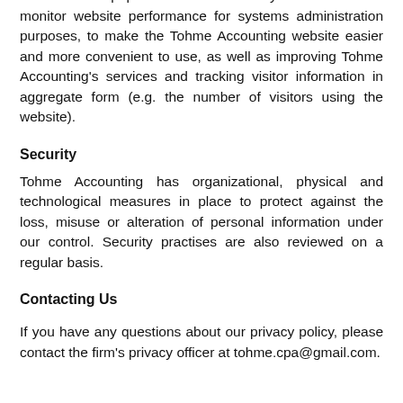characteristics of users on Tohme Accounting's website and our most popular services. We may use this data to monitor website performance for systems administration purposes, to make the Tohme Accounting website easier and more convenient to use, as well as improving Tohme Accounting's services and tracking visitor information in aggregate form (e.g. the number of visitors using the website).
Security
Tohme Accounting has organizational, physical and technological measures in place to protect against the loss, misuse or alteration of personal information under our control. Security practises are also reviewed on a regular basis.
Contacting Us
If you have any questions about our privacy policy, please contact the firm's privacy officer at tohme.cpa@gmail.com.